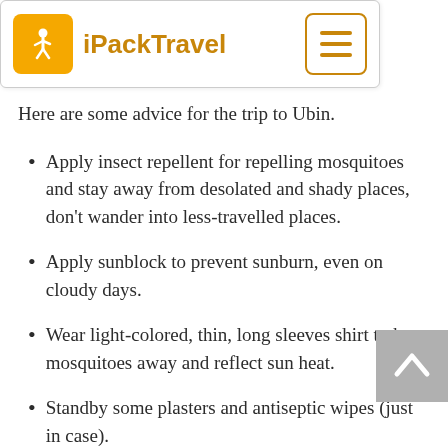iPackTravel
Here are some advice for the trip to Ubin.
Apply insect repellent for repelling mosquitoes and stay away from desolated and shady places, don't wander into less-travelled places.
Apply sunblock to prevent sunburn, even on cloudy days.
Wear light-colored, thin, long sleeves shirt to keep mosquitoes away and reflect sun heat.
Standby some plasters and antiseptic wipes (just in case).
Bring drinking water (unless you